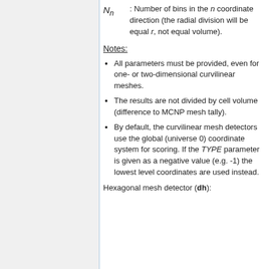N_n : Number of bins in the n coordinate direction (the radial division will be equal r, not equal volume).
Notes:
All parameters must be provided, even for one- or two-dimensional curvilinear meshes.
The results are not divided by cell volume (difference to MCNP mesh tally).
By default, the curvilinear mesh detectors use the global (universe 0) coordinate system for scoring. If the TYPE parameter is given as a negative value (e.g. -1) the lowest level coordinates are used instead.
Hexagonal mesh detector (dh):